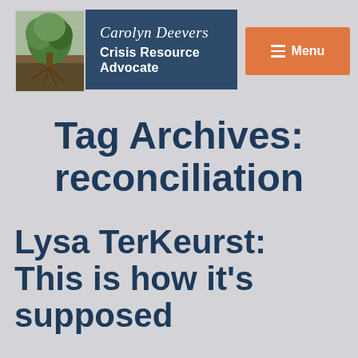Carolyn Deevers Crisis Resource Advocate
Tag Archives: reconciliation
Lysa TerKeurst: This is how it's supposed